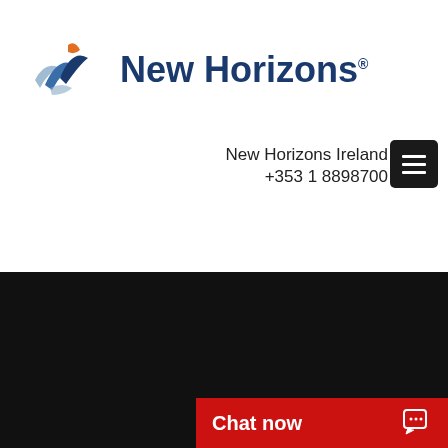[Figure (logo): New Horizons logo with stylized wing/sail icon in blue and orange, followed by 'New Horizons' text in dark blue with registered trademark symbol]
New Horizons Ireland
+353 1 8898700
Applications
Office 365
Access
Excel
Acrobat
Captivate
Chat now